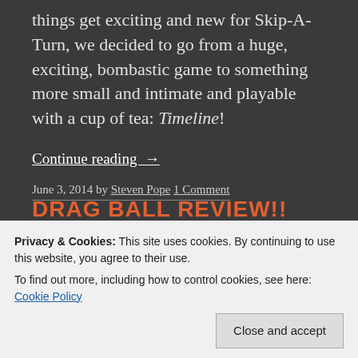things get exciting and new for Skip-A-Turn, we decided to go from a huge, exciting, bombastic game to something more small and intimate and playable with a cup of tea: Timeline!
Continue reading →
June 3, 2014 by Steven Pope 1 Comment
DRAG BALL REVIEW!!
Privacy & Cookies: This site uses cookies. By continuing to use this website, you agree to their use.
To find out more, including how to control cookies, see here: Cookie Policy
Close and accept